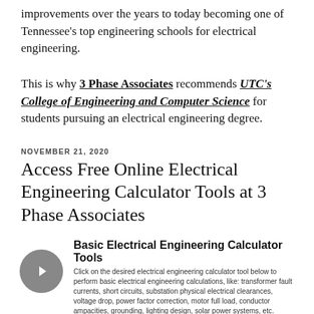improvements over the years to today becoming one of Tennessee's top engineering schools for electrical engineering.
This is why 3 Phase Associates recommends UTC's College of Engineering and Computer Science for students pursuing an electrical engineering degree.
NOVEMBER 21, 2020
Access Free Online Electrical Engineering Calculator Tools at 3 Phase Associates
Basic Electrical Engineering Calculator Tools
Click on the desired electrical engineering calculator tool below to perform basic electrical engineering calculations, like: transformer fault currents, short circuits, substation physical electrical clearances, voltage drop, power factor correction, motor full load, conductor ampacities, grounding, lighting design, solar power systems, etc.